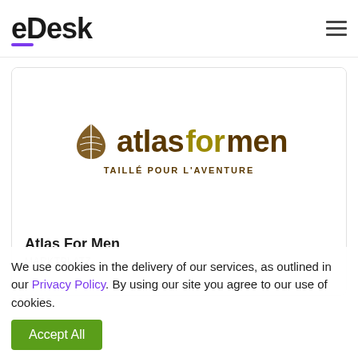eDesk
[Figure (logo): Atlas For Men logo with leaf/pine icon and text 'atlasformen' with tagline 'TAILLÉ POUR L'AVENTURE']
Atlas For Men
MARKTPLATZ
We use cookies in the delivery of our services, as outlined in our Privacy Policy. By using our site you agree to our use of cookies.
Accept All